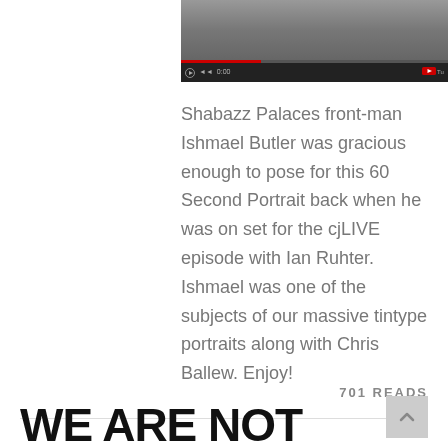[Figure (screenshot): Video player showing a thumbnail of a person/animal, with playback controls including play button, volume, timestamp showing 0:00, and YouTube logo.]
Shabazz Palaces front-man Ishmael Butler was gracious enough to pose for this 60 Second Portrait back when he was on set for the cjLIVE episode with Ian Ruhter. Ishmael was one of the subjects of our massive tintype portraits along with Chris Ballew. Enjoy!
701 READS
WE ARE NOT